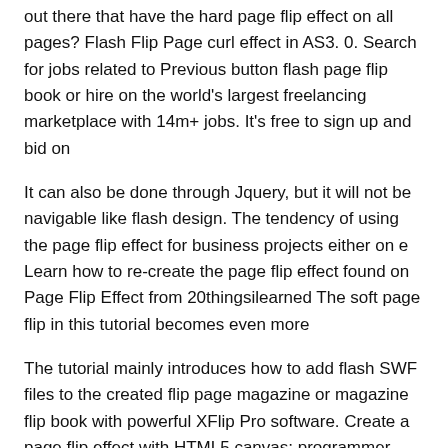out there that have the hard page flip effect on all pages? Flash Flip Page curl effect in AS3. 0. Search for jobs related to Previous button flash page flip book or hire on the world's largest freelancing marketplace with 14m+ jobs. It's free to sign up and bid on
It can also be done through Jquery, but it will not be navigable like flash design. The tendency of using the page flip effect for business projects either on e Learn how to re-create the page flip effect found on Page Flip Effect from 20thingsilearned The soft page flip in this tutorial becomes even more
The tutorial mainly introduces how to add flash SWF files to the created flip page magazine or magazine flip book with powerful XFlip Pro software. Create a page flip effect with HTML5 canvas; programmer Hakim El Hattab shows us a new take on the вЂ‹Flash page flipвЂ™ we all love to great